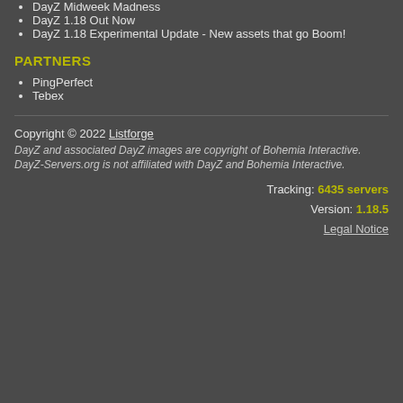DayZ Midweek Madness
DayZ 1.18 Out Now
DayZ 1.18 Experimental Update - New assets that go Boom!
PARTNERS
PingPerfect
Tebex
Copyright © 2022 Listforge
DayZ and associated DayZ images are copyright of Bohemia Interactive.
DayZ-Servers.org is not affiliated with DayZ and Bohemia Interactive.
Tracking: 6435 servers
Version: 1.18.5
Legal Notice